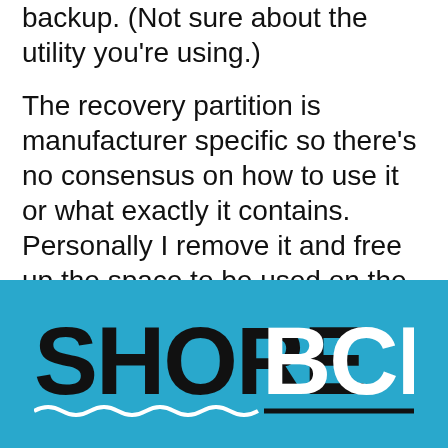backup. (Not sure about the utility you’re using.)
The recovery partition is manufacturer specific so there’s no consensus on how to use it or what exactly it contains. Personally I remove it and free up the space to be used on the C: drive – I much prefer to rely on full backups I control.
[Figure (logo): SHORE BCN logo on a light blue background with wavy underline beneath SHORE and a straight underline beneath BCN]